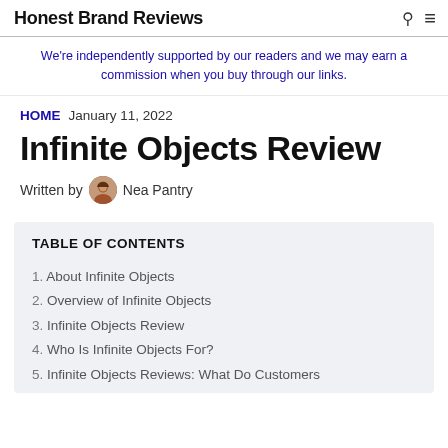Honest Brand Reviews
We're independently supported by our readers and we may earn a commission when you buy through our links.
HOME   January 11, 2022
Infinite Objects Review
Written by  Nea Pantry
TABLE OF CONTENTS
1. About Infinite Objects
2. Overview of Infinite Objects
3. Infinite Objects Review
4. Who Is Infinite Objects For?
5. Infinite Objects Reviews: What Do Customers